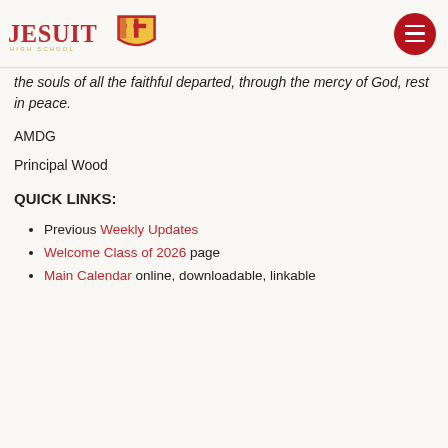Jesuit High School logo and navigation
the souls of all the faithful departed, through the mercy of God, rest in peace.
AMDG
Principal Wood
QUICK LINKS:
Previous Weekly Updates
Welcome Class of 2026 page
Main Calendar online, downloadable, linkable